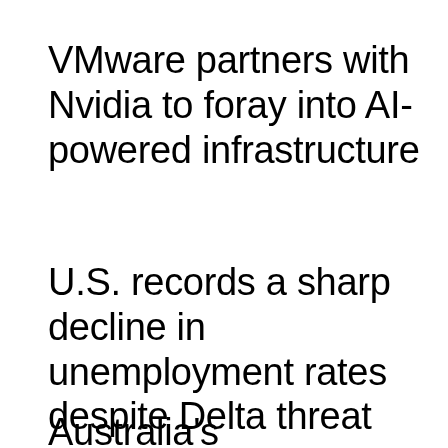VMware partners with Nvidia to foray into AI-powered infrastructure
U.S. records a sharp decline in unemployment rates despite Delta threat
Australia's